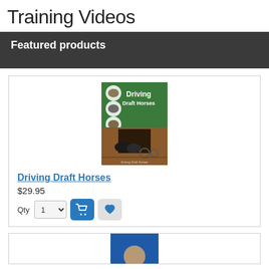Training Videos
Featured products
[Figure (photo): Book cover for 'Driving Draft Horses' — green cover with title text and circular images of horses, plus a photo of two draft horses pulling a carriage out of a barn.]
Driving Draft Horses
$29.95
[Figure (screenshot): Quantity selector showing '1' with a dropdown arrow, an add-to-cart button (blue with cart icon), and a wishlist button (grey with heart icon).]
[Figure (photo): Partial view of a second product card with a blue image area showing the top of what appears to be another training video product.]